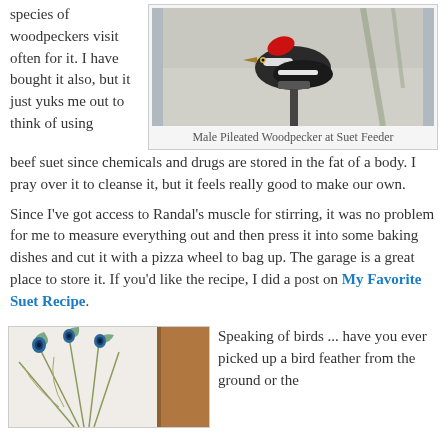species of woodpeckers visit often for it.  I have bought it also, but it just yuks me out to think of using beef suet since chemicals and drugs are stored in the fat of a body.  I pray over it to cleanse it, but it feels really good to make our own.
[Figure (photo): Male Pileated Woodpecker at a suet feeder, black bird with red crest]
Male Pileated Woodpecker at Suet Feeder
Since I've got access to Randal's muscle for stirring, it was no problem for me to measure everything out and then press it into some baking dishes and cut it with a pizza wheel to bag up.  The garage is a great place to store it.  If you'd like the recipe, I did a post on My Favorite Suet Recipe.
[Figure (photo): Peacock feathers with iridescent blue-green eye spots on a light background with wooden surface]
Speaking of birds ... have you ever picked up a bird feather from the ground or the